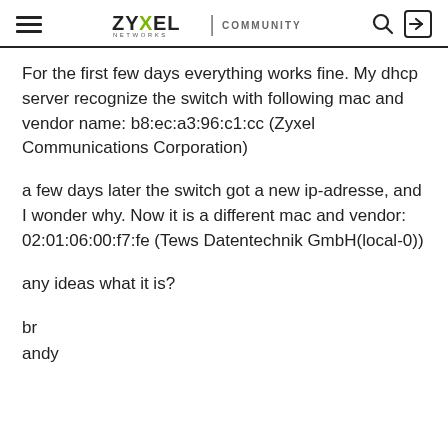ZYXEL NETWORKS | COMMUNITY
For the first few days everything works fine. My dhcp server recognize the switch with following mac and vendor name: b8:ec:a3:96:c1:cc (Zyxel Communications Corporation)
a few days later the switch got a new ip-adresse, and I wonder why. Now it is a different mac and vendor:
02:01:06:00:f7:fe (Tews Datentechnik GmbH(local-0))
any ideas what it is?
br
andy